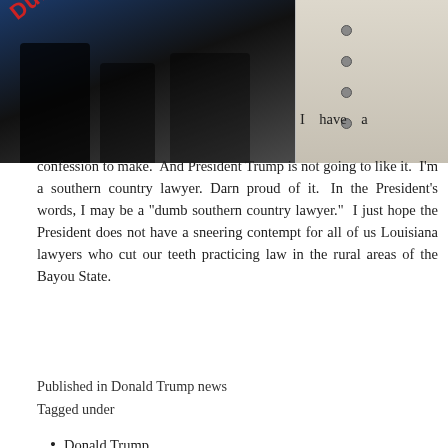[Figure (photo): Black and white photo of two people, one wearing a shirt with 'Dumb Co...' text visible in red diagonally, partially cropped]
I have a confession to make. And President Trump is not going to like it. I'm a southern country lawyer. Darn proud of it. In the President's words, I may be a “dumb southern country lawyer.” I just hope the President does not have a sneering contempt for all of us Louisiana lawyers who cut our teeth practicing law in the rural areas of the Bayou State.
Published in Donald Trump news
Tagged under
Donald Trump
Jeff Sessions
Bob Woodward
Read more...
Monday, 18 June 2018 16:11
Trump's gains are dogged by his separating immigrant children from